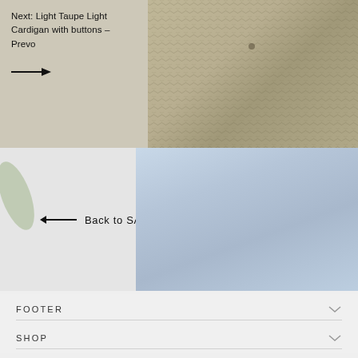Next: Light Taupe Light Cardigan with buttons – Prevo →
[Figure (photo): Close-up of a knitted light taupe cardigan with button details, warm beige/tan tones]
← Back to SALE
[Figure (photo): Light blue soft fabric garment, close-up product shot with light grey background and partial green leaf visible on left]
FOOTER
SHOP
SIGN UP AND SAVE